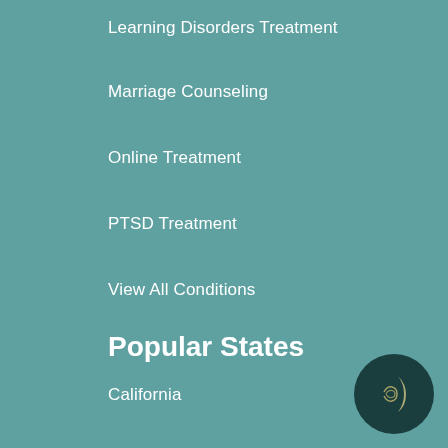Learning Disorders Treatment
Marriage Counseling
Online Treatment
PTSD Treatment
View All Conditions
Popular States
California
Colorado
Florida
Georgia
Illinois
Michigan
Ohio
[Figure (logo): Dark teal circular logo with crescent moon and profile face design in white and gold]